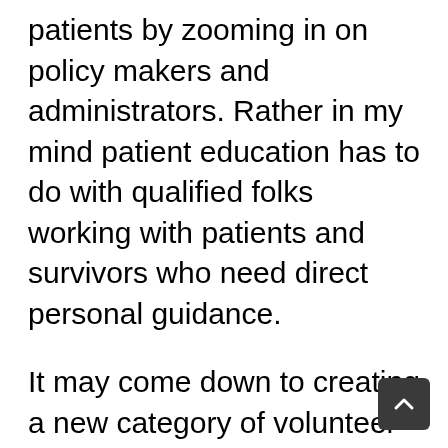patients by zooming in on policy makers and administrators. Rather in my mind patient education has to do with qualified folks working with patients and survivors who need direct personal guidance.
It may come down to creating a new category of volunteer and paid prostate cancer caseworkers: We need to train prostate cancer survivors who feel they have done relatively well for themselves, to help